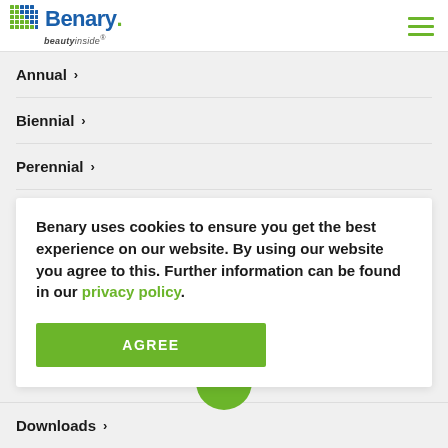Benary beautyinside
Annual ›
Biennial ›
Perennial ›
A-Z ›
Benary uses cookies to ensure you get the best experience on our website. By using our website you agree to this. Further information can be found in our privacy policy.
AGREE
Downloads ›